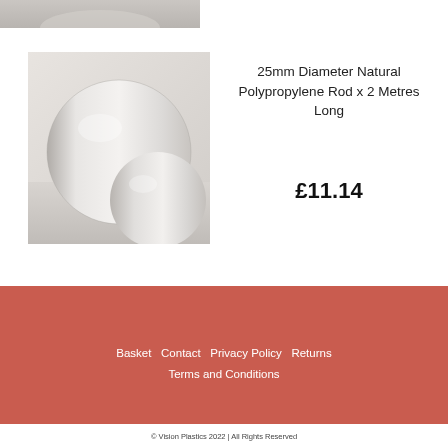[Figure (photo): Top partial image of white/grey polypropylene rods, cropped at top of page]
[Figure (photo): Close-up photo of natural white polypropylene cylindrical rods stacked together]
25mm Diameter Natural Polypropylene Rod x 2 Metres Long
£11.14
Basket  Contact  Privacy Policy  Returns  Terms and Conditions
© Vision Plastics 2022 | All Rights Reserved